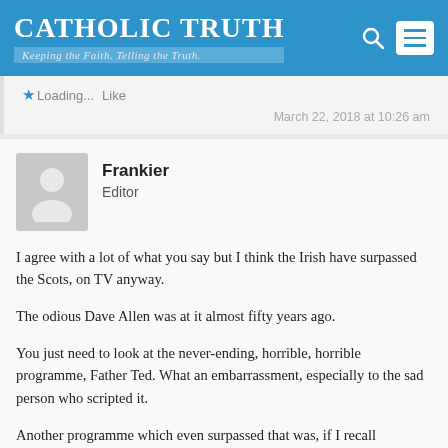Catholic Truth — Keeping the Faith. Telling the Truth.
Loading...
March 22, 2018 at 10:26 am
Frankier
Editor
I agree with a lot of what you say but I think the Irish have surpassed the Scots, on TV anyway.

The odious Dave Allen was at it almost fifty years ago.

You just need to look at the never-ending, horrible, horrible programme, Father Ted. What an embarrassment, especially to the sad person who scripted it.

Another programme which even surpassed that was, if I recall correctly, The Derry Girls. Even the nun who, I assumed , was the headmistress of the Catholic girls' school was at it too.